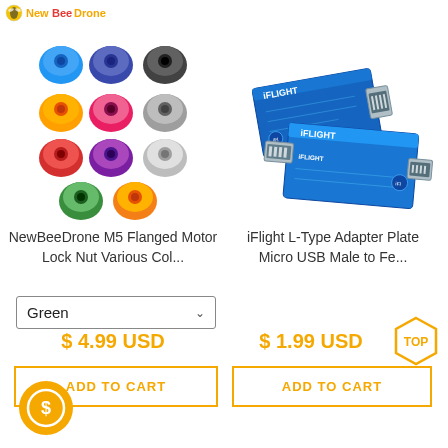[Figure (photo): NewBeeDrone logo in top left corner]
[Figure (photo): Grid of colored motor lock nuts in various colors: blue, purple/dark blue, black, yellow/gold, pink/magenta, gray, red, purple, gray (lighter), green, gold/orange - small dome-shaped metal nuts]
[Figure (photo): iFlight L-Type Adapter Plate Micro USB Male to Female - two blue electronic circuit board components with micro USB connectors]
NewBeeDrone M5 Flanged Motor Lock Nut Various Col...
iFlight L-Type Adapter Plate Micro USB Male to Fe...
Green (dropdown selection)
$ 4.99 USD
ADD TO CART
$ 1.99 USD
TOP
ADD TO CART